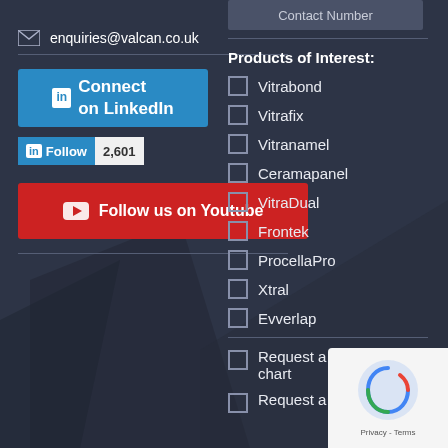enquiries@valcan.co.uk
[Figure (other): LinkedIn Connect button and Follow widget with 2,601 followers]
[Figure (other): Follow us on Youtube button (red)]
Contact Number
Products of Interest:
Vitrabond
Vitrafix
Vitranamel
Ceramapanel
VitraDual
Frontek
ProcellaPro
Xtral
Evverlap
Request a colour chart
Request a me…